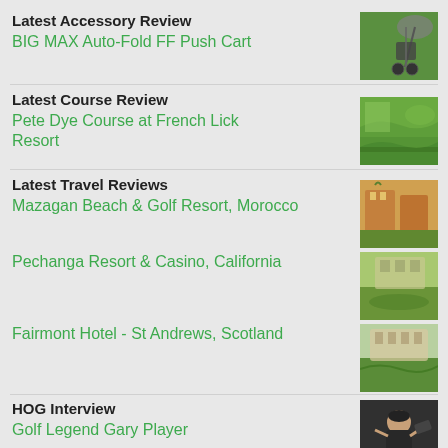Latest Accessory Review
BIG MAX Auto-Fold FF Push Cart
[Figure (photo): Golf push cart on a green course with umbrella attachment]
Latest Course Review
Pete Dye Course at French Lick Resort
[Figure (photo): Aerial view of Pete Dye golf course fairways at French Lick Resort]
Latest Travel Reviews
Mazagan Beach & Golf Resort, Morocco
[Figure (photo): Mazagan Beach Resort showing hotel buildings and golf course]
Pechanga Resort & Casino, California
[Figure (photo): Aerial view of Pechanga Resort and golf course in California]
Fairmont Hotel - St Andrews, Scotland
[Figure (photo): Green golf course at Fairmont Hotel in St Andrews Scotland]
HOG Interview
Golf Legend Gary Player
[Figure (photo): Gary Player mid golf swing wearing black cap]